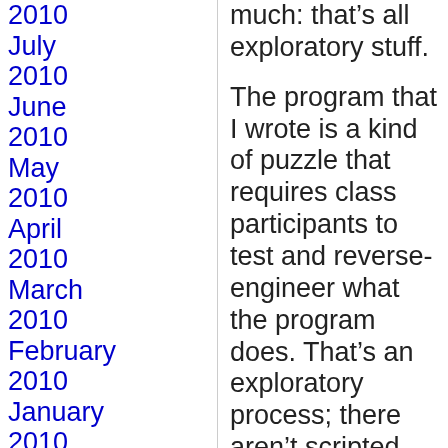2010
July 2010
June 2010
May 2010
April 2010
March 2010
February 2010
January 2010
December 2009
Novemb...
much: that’s all exploratory stuff.
The program that I wrote is a kind of puzzle that requires class participants to test and reverse-engineer what the program does. That’s an exploratory process; there aren’t scripted approaches to reverse engineering something, because the first unexpected piece of information derails the script. In workshopping this program with